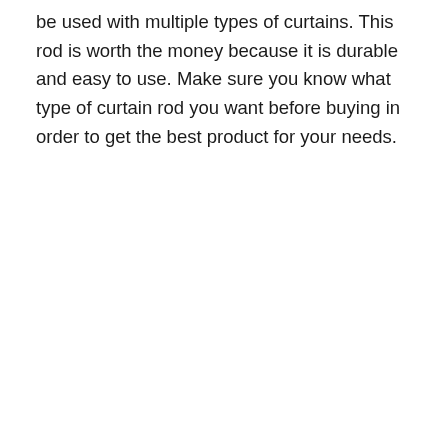be used with multiple types of curtains. This rod is worth the money because it is durable and easy to use. Make sure you know what type of curtain rod you want before buying in order to get the best product for your needs.